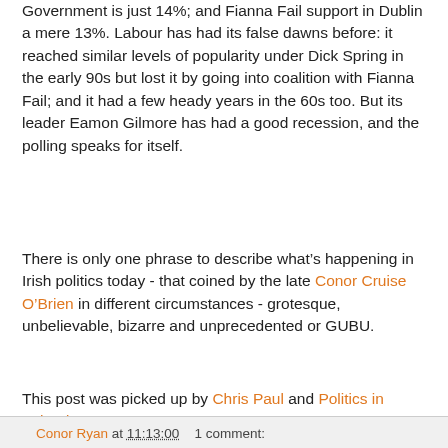Government is just 14%; and Fianna Fail support in Dublin a mere 13%. Labour has had its false dawns before: it reached similar levels of popularity under Dick Spring in the early 90s but lost it by going into coalition with Fianna Fail; and it had a few heady years in the 60s too. But its leader Eamon Gilmore has had a good recession, and the polling speaks for itself.
There is only one phrase to describe what's happening in Irish politics today - that coined by the late Conor Cruise O'Brien in different circumstances - grotesque, unbelievable, bizarre and unprecedented or GUBU.
This post was picked up by Chris Paul and Politics in Ireland.
Conor Ryan at 11:13:00   1 comment:
Thursday, 12 February 2009
Where is this man when you need him?